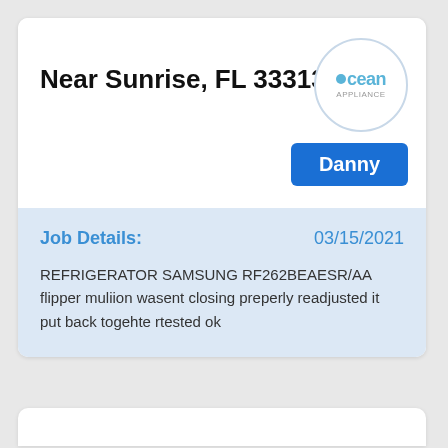[Figure (logo): Ocean Appliance circular logo with light blue border, text 'ocean' in blue with a dot replacing the 'o', and 'APPLIANCE' in small gray text below]
Near Sunrise, FL 33313
Danny
Job Details:
03/15/2021
REFRIGERATOR SAMSUNG RF262BEAESR/AA flipper muliion wasent closing preperly readjusted it put back togehte rtested ok